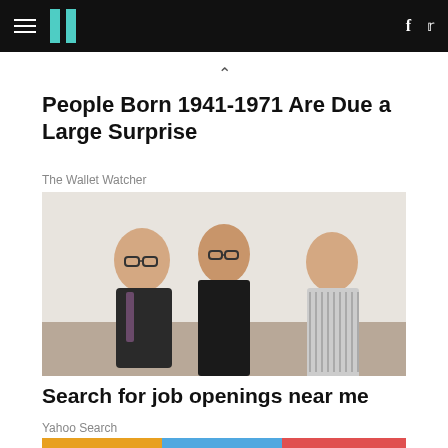HuffPost navigation with hamburger menu, logo, Facebook and Twitter icons
People Born 1941-1971 Are Due a Large Surprise
The Wallet Watcher
[Figure (photo): Three professionals (two women, one man) sitting at a table in a formal/interview setting against a light background]
Search for job openings near me
Yahoo Search
[Figure (photo): Partial image at bottom of page, colorful background visible]